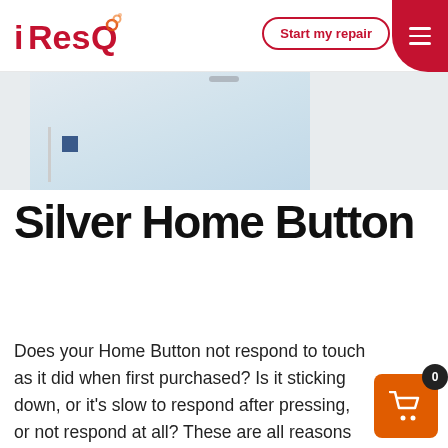iResQ | Start my repair
[Figure (photo): Product photo of a silver home button / iPad or device component on a light blue-grey background]
Silver Home Button
Does your Home Button not respond to touch as it did when first purchased? Is it sticking down, or it's slow to respond after pressing, or not respond at all? These are all reasons why people order this repair service. ... Read More